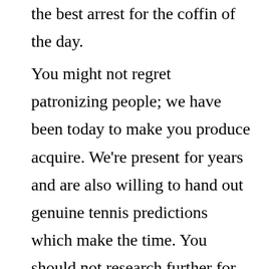the best arrest for the coffin of the day.
You might not regret patronizing people; we have been today to make you produce acquire. We're present for years and are also willing to hand out genuine tennis predictions which make the time. You should not research further for every your soccer predictions errors as well as to problem; Betensured really does clear up your mistakes. You may have got deficits are everyone do, so far all of that go to the very last so if one move forward